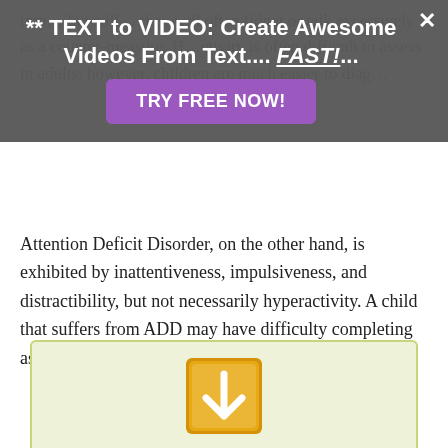[Figure (infographic): Promotional overlay banner with dark semi-transparent background, title '** TEXT to VIDEO: Create Awesome Videos From Text.... FAST!...', a purple 'TRY FREE NOW!' button, and a white X close button in top-right corner.]
Attention Deficit Disorder, on the other hand, is exhibited by inattentiveness, impulsiveness, and distractibility, but not necessarily hyperactivity. A child that suffers from ADD may have difficulty completing assignments, paying...
[Figure (illustration): Download icon: orange/yellow square with a white downward arrow, centered in a light yellow-green rounded box.]
To view and download this full PLR article, you must be logged in. Registration is completely